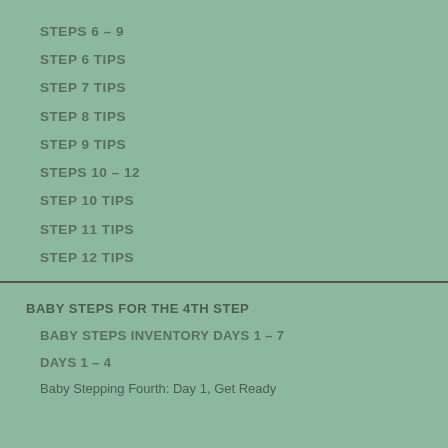STEPS 6 – 9
STEP 6 TIPS
STEP 7 TIPS
STEP 8 TIPS
STEP 9 TIPS
STEPS 10 – 12
STEP 10 TIPS
STEP 11 TIPS
STEP 12 TIPS
BABY STEPS FOR THE 4TH STEP
BABY STEPS INVENTORY DAYS 1 – 7
DAYS 1 – 4
Baby Stepping Fourth: Day 1, Get Ready